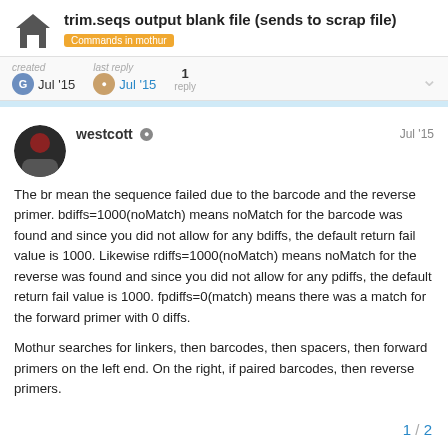trim.seqs output blank file (sends to scrap file)
Commands in mothur
created Jul '15  last reply Jul '15  1 reply
westcott  Jul '15
The br mean the sequence failed due to the barcode and the reverse primer. bdiffs=1000(noMatch) means noMatch for the barcode was found and since you did not allow for any bdiffs, the default return fail value is 1000. Likewise rdiffs=1000(noMatch) means noMatch for the reverse was found and since you did not allow for any pdiffs, the default return fail value is 1000. fpdiffs=0(match) means there was a match for the forward primer with 0 diffs.
Mothur searches for linkers, then barcodes, then spacers, then forward primers on the left end. On the right, if paired barcodes, then reverse primers.
1 / 2